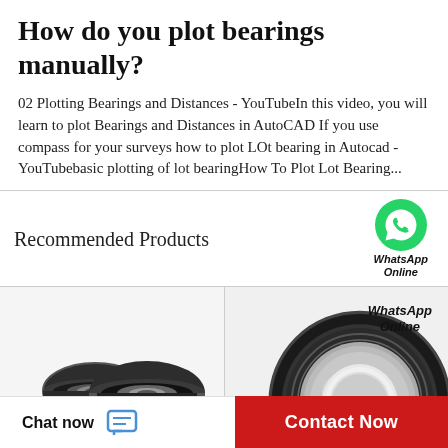How do you plot bearings manually?
02 Plotting Bearings and Distances - YouTubeIn this video, you will learn to plot Bearings and Distances in AutoCAD If you use compass for your surveys how to plot LOt bearing in Autocad - YouTubebasic plotting of lot bearingHow To Plot Lot Bearing...
Recommended Products
[Figure (photo): Two small black ball bearings side by side on a light background]
[Figure (photo): Close-up of a single large ball bearing with metallic inner ring and black rubber seal, with WhatsApp Online label]
Chat now
Contact Now